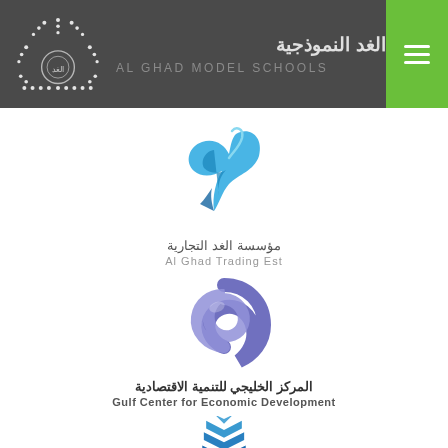[Figure (logo): Al Ghad Model Schools header with dots pattern logo, Arabic text مدارس الغد النموذجية, AL GHAD MODEL SCHOOLS, and green hamburger menu button]
[Figure (logo): Al Ghad Trading Est logo - cyan/blue stylized bird/flame shape with Arabic text مؤسسة الغد التجارية and Al Ghad Trading Est]
[Figure (logo): Gulf Center for Economic Development logo - purple/blue swirl spiral with Arabic text المركز الخليجي للتنمية الاقتصادية and Gulf Center for Economic Development]
[Figure (logo): Partial logo at bottom - blue and dark blue layered chevron/building shapes, partially cut off]